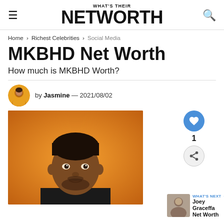WHAT'S THEIR NETWORTH
Home > Richest Celebrities > Social Media
MKBHD Net Worth
How much is MKBHD Worth?
by Jasmine — 2021/08/02
[Figure (photo): Portrait photo of MKBHD (Marques Brownlee) against an orange background]
WHAT'S NEXT → Joey Graceffa Net Worth